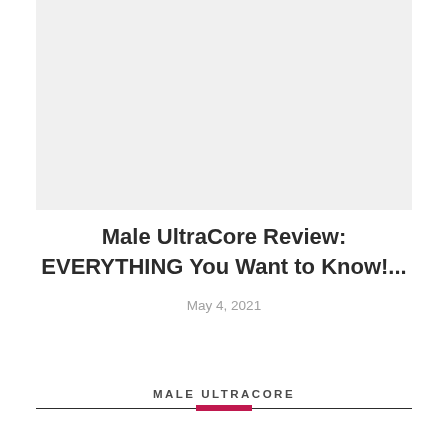[Figure (photo): Light gray placeholder image area at the top of the page]
Male UltraCore Review: EVERYTHING You Want to Know!...
May 4, 2021
MALE ULTRACORE